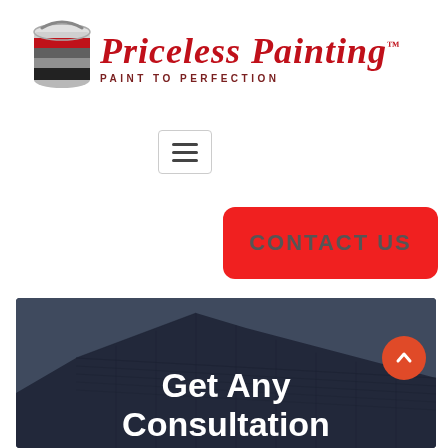[Figure (logo): Priceless Painting logo with paint can graphic and script text reading 'Priceless Painting' with tagline 'PAINT TO PERFECTION']
[Figure (infographic): Hamburger/menu icon with three horizontal lines inside a rounded rectangle border]
[Figure (infographic): Red rounded rectangle button with text 'CONTACT US' in gray uppercase letters]
[Figure (photo): Hero image of a dark house rooftop against a gray-blue sky with white bold text overlay reading 'Get Any Consultation']